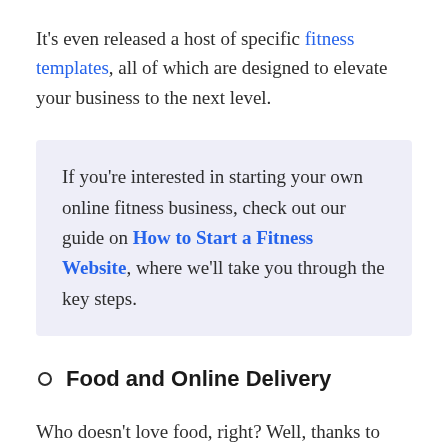It's even released a host of specific fitness templates, all of which are designed to elevate your business to the next level.
If you're interested in starting your own online fitness business, check out our guide on How to Start a Fitness Website, where we'll take you through the key steps.
Food and Online Delivery
Who doesn't love food, right? Well, thanks to months consigned to our couches, we love it even more since